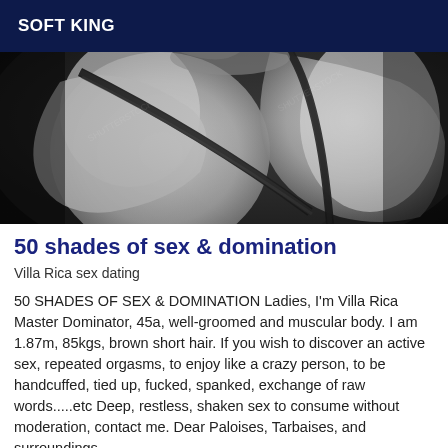SOFT KING
[Figure (photo): Black and white photograph of a person's bare back with a dark strap or rope crossing diagonally across the skin, shot in a dark, artistic style.]
50 shades of sex & domination
Villa Rica sex dating
50 SHADES OF SEX & DOMINATION Ladies, I'm Villa Rica Master Dominator, 45a, well-groomed and muscular body. I am 1.87m, 85kgs, brown short hair. If you wish to discover an active sex, repeated orgasms, to enjoy like a crazy person, to be handcuffed, tied up, fucked, spanked, exchange of raw words.....etc Deep, restless, shaken sex to consume without moderation, contact me. Dear Paloises, Tarbaises, and surroundings